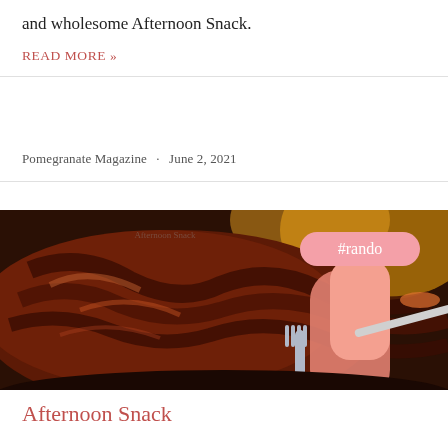and wholesome Afternoon Snack.
READ MORE »
Pomegranate Magazine · June 2, 2021
[Figure (illustration): Painting-style illustration of a large piece of meat being cut, with a person in a pink sweater holding utensils. A pink rounded tag reads '#rando'.]
Afternoon Snack